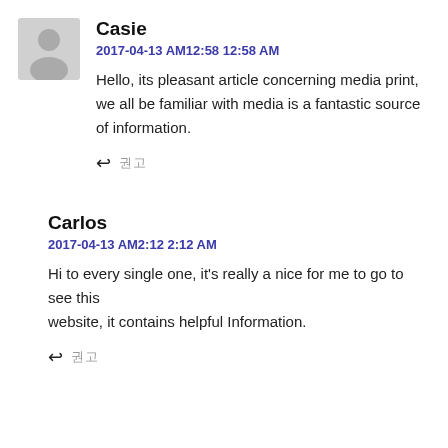[Figure (illustration): Gray placeholder avatar icon showing a person silhouette]
Casie
2017-04-13 AM12:58 12:58 AM
Hello, its pleasant article concerning media print, we all be familiar with media is a fantastic source of information.
↩ 댓글
Carlos
2017-04-13 AM2:12 2:12 AM
Hi to every single one, it's really a nice for me to go to see this website, it contains helpful Information.
↩ 댓글